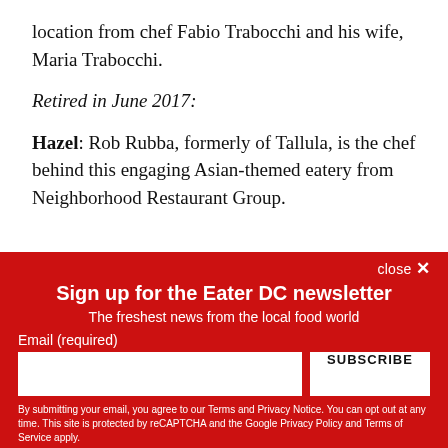location from chef Fabio Trabocchi and his wife, Maria Trabocchi.
Retired in June 2017:
Hazel: Rob Rubba, formerly of Tallula, is the chef behind this engaging Asian-themed eatery from Neighborhood Restaurant Group.
close ✕
Sign up for the Eater DC newsletter
The freshest news from the local food world
Email (required)
SUBSCRIBE
By submitting your email, you agree to our Terms and Privacy Notice. You can opt out at any time. This site is protected by reCAPTCHA and the Google Privacy Policy and Terms of Service apply.